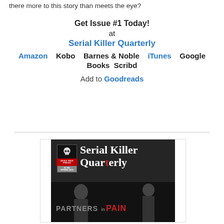there more to this story than meets the eye?
Get Issue #1 Today!
at
Serial Killer Quarterly
Amazon   Kobo   Barnes & Noble   iTunes   Google Books   Scribd
Add to Goodreads
[Figure (photo): Book cover for Serial Killer Quarterly showing the title in white serif font with a red T, a skull logo in the top-left corner, dark moody background with shadowy figures, and subtitle text 'PARTNERS in PAIN' at the bottom.]